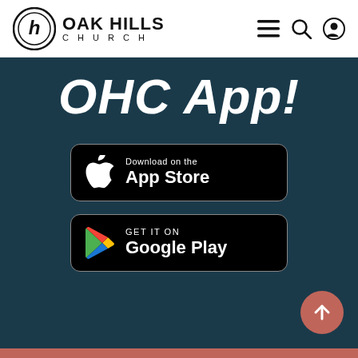Oak Hills Church
OHC App!
[Figure (screenshot): Download on the App Store button - black rounded rectangle with Apple logo and text 'Download on the App Store']
[Figure (screenshot): GET IT ON Google Play button - black rounded rectangle with Google Play triangle logo and text 'GET IT ON Google Play']